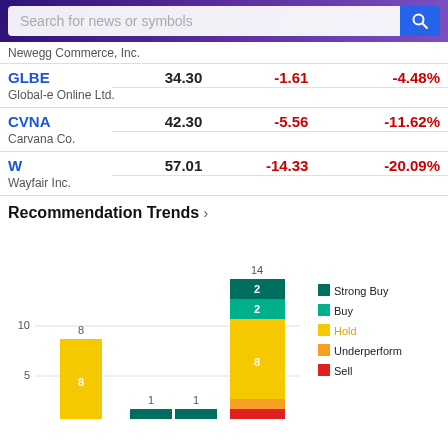Search for news or symbols
| Ticker/Company | Price | Change | % Change |
| --- | --- | --- | --- |
| Newegg Commerce, Inc. |  |  |  |
| GLBE / Global-e Online Ltd. | 34.30 | -1.61 | -4.48% |
| CVNA / Carvana Co. | 42.30 | -5.56 | -11.62% |
| W / Wayfair Inc. | 57.01 | -14.33 | -20.09% |
Recommendation Trends >
[Figure (stacked-bar-chart): Recommendation Trends]